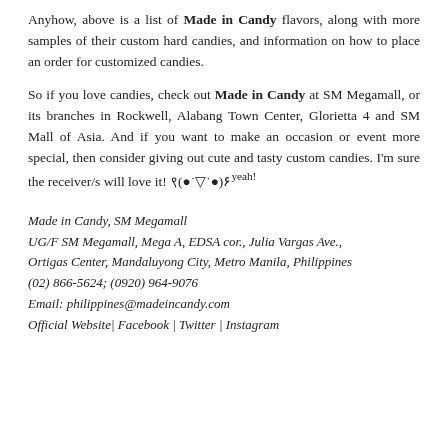Anyhow, above is a list of Made in Candy flavors, along with more samples of their custom hard candies, and information on how to place an order for customized candies.
So if you love candies, check out Made in Candy at SM Megamall, or its branches in Rockwell, Alabang Town Center, Glorietta 4 and SM Mall of Asia. And if you want to make an occasion or event more special, then consider giving out cute and tasty custom candies. I'm sure the receiver/s will love it! ९(●˙▽˙●)۶yeah!
Made in Candy, SM Megamall
UG/F SM Megamall, Mega A, EDSA cor., Julia Vargas Ave., Ortigas Center, Mandaluyong City, Metro Manila, Philippines
(02) 866-5624; (0920) 964-9076
Email: philippines@madeincandy.com
Official Website | Facebook | Twitter | Instagram